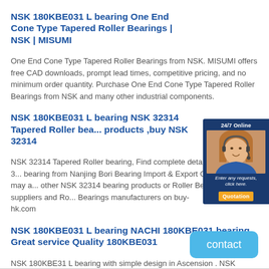NSK 180KBE031 L bearing One End Cone Type Tapered Roller Bearings | NSK | MISUMI
One End Cone Type Tapered Roller Bearings from NSK. MISUMI offers free CAD downloads, prompt lead times, competitive pricing, and no minimum order quantity. Purchase One End Cone Type Tapered Roller Bearings from NSK and many other industrial components.
NSK 180KBE031 L bearing NSK 32314 Tapered Roller bea... products ,buy NSK 32314
NSK 32314 Tapered Roller bearing, Find complete details about NSK 3... bearing from Nanjing Bori Bearing Import & Export Co. LTD. You may a... other NSK 32314 bearing products or Roller Bearings suppliers and Ro... Bearings manufacturers on buy-hk.com
NSK 180KBE031 L bearing NACHI 180KBE031 bearing Great service Quality 180KBE031
NSK 180KBE31 L bearing with simple design in Ascension . NSK 180KBE031 L bearings SKF bearings FAG bearings INA . NSK 180KBE031 L bearing not only has best quality but also the competitive price and fas shippingMeanwhile in recent years,due to our good permance NSK 180KBE31 L...